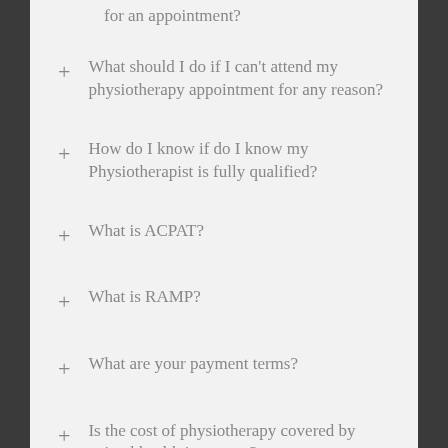for an appointment?
+ What should I do if I can't attend my physiotherapy appointment for any reason?
+ How do I know if do I know my Physiotherapist is fully qualified?
+ What is ACPAT?
+ What is RAMP?
+ What are your payment terms?
+ Is the cost of physiotherapy covered by animal health insurance?
+ How do I go about getting a veterinary referral?